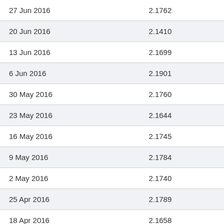| 27 Jun 2016 | 2.1762 |
| 20 Jun 2016 | 2.1410 |
| 13 Jun 2016 | 2.1699 |
| 6 Jun 2016 | 2.1901 |
| 30 May 2016 | 2.1760 |
| 23 May 2016 | 2.1644 |
| 16 May 2016 | 2.1745 |
| 9 May 2016 | 2.1784 |
| 2 May 2016 | 2.1740 |
| 25 Apr 2016 | 2.1789 |
| 18 Apr 2016 | 2.1658 |
| 11 Apr 2016 | 2.1610 |
| 4 Apr 2016 | 2.1857 |